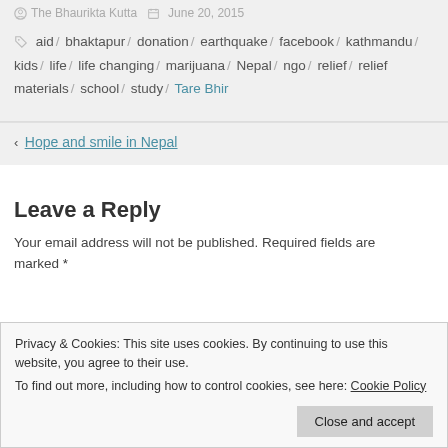The Bhaurikta Kutta  June 20, 2015
aid / bhaktapur / donation / earthquake / facebook / kathmandu / kids / life / life changing / marijuana / Nepal / ngo / relief / relief materials / school / study / Tare Bhir
< Hope and smile in Nepal
Leave a Reply
Your email address will not be published. Required fields are marked *
Privacy & Cookies: This site uses cookies. By continuing to use this website, you agree to their use. To find out more, including how to control cookies, see here: Cookie Policy
Close and accept